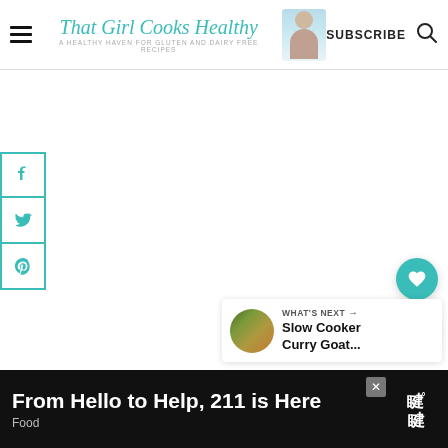That Girl Cooks Healthy — A healthy haven for gluten and dairy free recipes | SUBSCRIBE
[Figure (screenshot): Social media share sidebar with Facebook, Twitter, Pinterest buttons in teal outline style]
[Figure (screenshot): Heart (favorite) button in teal circle on right side]
[Figure (screenshot): Share button circle on right side]
[Figure (screenshot): What's Next panel showing Slow Cooker Curry Goat... with thumbnail]
From Hello to Help, 211 is Here
Food